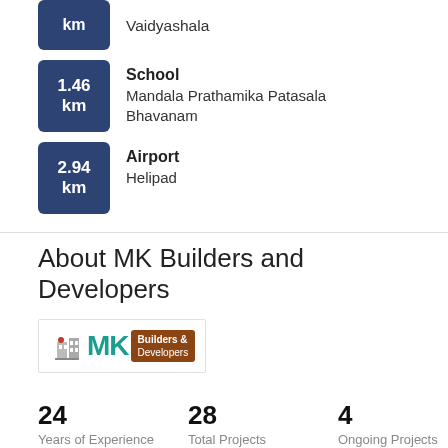km | Vaidyashala
1.46 km | School | Mandala Prathamika Patasala Bhavanam
2.94 km | Airport | Helipad
About MK Builders and Developers
[Figure (logo): MK Builders & Developers logo with teal MK text and brown tag]
24 Years of Experience
28 Total Projects
4 Ongoing Projects
MK Builders & Developers An Overview Since its inception in 1998, MK Builders & Developers has evolved as one of the trusted and prominent real estate developers in Visakhapatnam. Founded by M... read more